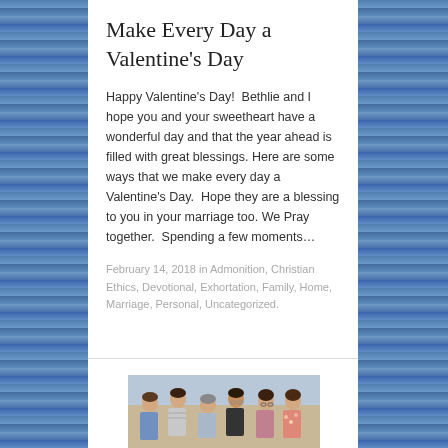Make Every Day a Valentine's Day
Happy Valentine's Day!  Bethlie and I hope you and your sweetheart have a wonderful day and that the year ahead is filled with great blessings. Here are some ways that we make every day a Valentine's Day.  Hope they are a blessing to you in your marriage too. We Pray together.  Spending a few moments…
February 14, 2018 in Admonition, Christian Ethics, Devotional, Exhortation, Family, Home, Marriage, Personal, Uncategorized.
[Figure (photo): Group photo of six people standing together, including men and a young woman, outdoors or in a building setting.]